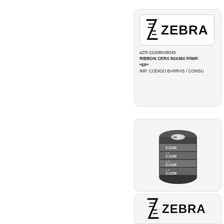[Figure (logo): Zebra Technologies logo in a white rounded rectangle box inside a gray card]
aZR-2100BK08045
RIBBON CERA 80X450 P/IMP.
*SP*
IMP. CODIGO BARRAS / CONSU
[Figure (photo): Photo of a Zebra Z-2100 black thermal transfer ribbon roll]
[Figure (logo): Zebra Technologies logo in a white rounded rectangle at the bottom of the page (partially visible)]